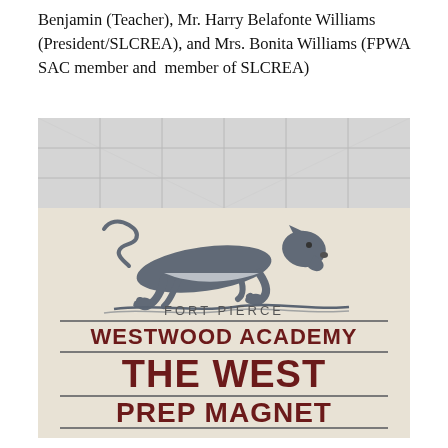Benjamin (Teacher), Mr. Harry Belafonte Williams (President/SLCREA), and Mrs. Bonita Williams (FPWA SAC member and member of SLCREA)
[Figure (photo): Photo of a wall sign inside Fort Pierce Westwood Academy showing a running panther mascot above the text: FORT PIERCE / WESTWOOD ACADEMY / THE WEST / PREP MAGNET, with decorative divider lines.]